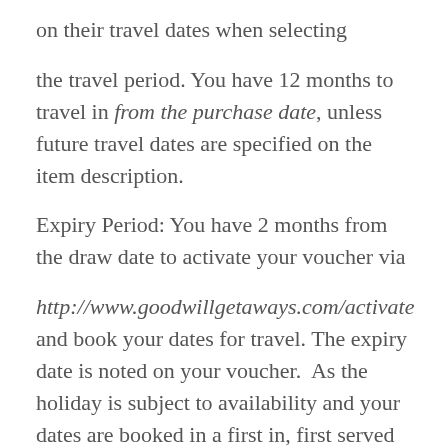on their travel dates when selecting
the travel period. You have 12 months to travel in from the purchase date, unless future travel dates are specified on the item description.
Expiry Period: You have 2 months from the draw date to activate your voucher via
http://www.goodwillgetaways.com/activate and book your dates for travel. The expiry date is noted on your voucher.  As the holiday is subject to availability and your dates are booked in a first in, first served basis, we recommend activating your voucher as early as possible and well within the 2 month expiry.  Please note bookings of holiday dates are final once